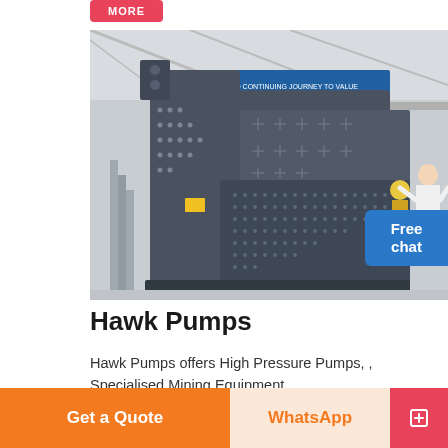MORE
[Figure (photo): Large industrial mining or crushing machine (dark grey) displayed in a factory/exhibition hall. A woman in white stands to the right. Blue promotional banner visible in background with flags.]
Free chat
Hawk Pumps
Hawk Pumps offers High Pressure Pumps, , Specialised Mining Equipment
Get a Quote
WhatsApp